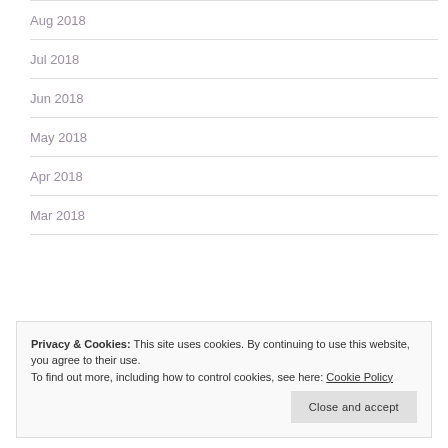Aug 2018
Jul 2018
Jun 2018
May 2018
Apr 2018
Mar 2018
Privacy & Cookies: This site uses cookies. By continuing to use this website, you agree to their use.
To find out more, including how to control cookies, see here: Cookie Policy
Close and accept